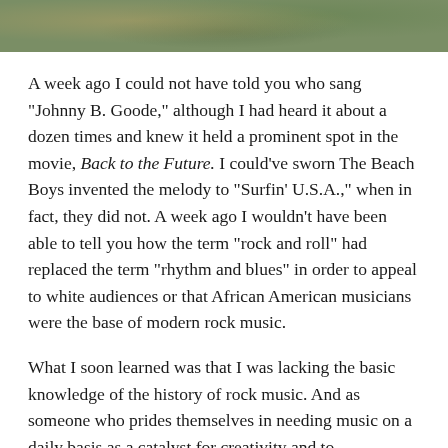[Figure (photo): Blurred outdoor nature/foliage photo strip at the top of the page, showing green and earthy tones suggesting grass or plants outdoors.]
A week ago I could not have told you who sang "Johnny B. Goode," although I had heard it about a dozen times and knew it held a prominent spot in the movie, Back to the Future. I could've sworn The Beach Boys invented the melody to "Surfin' U.S.A.," when in fact, they did not. A week ago I wouldn't have been able to tell you how the term "rock and roll" had replaced the term "rhythm and blues" in order to appeal to white audiences or that African American musicians were the base of modern rock music.
What I soon learned was that I was lacking the basic knowledge of the history of rock music. And as someone who prides themselves in needing music on a daily basis as a catalyst for creativity and to